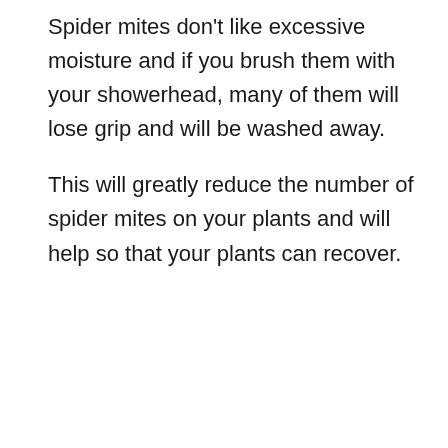Spider mites don't like excessive moisture and if you brush them with your showerhead, many of them will lose grip and will be washed away.
This will greatly reduce the number of spider mites on your plants and will help so that your plants can recover.